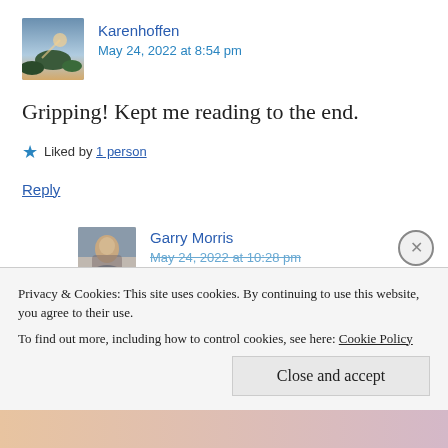Karenhoffen
May 24, 2022 at 8:54 pm
Gripping! Kept me reading to the end.
Liked by 1 person
Reply
Garry Morris
May 24, 2022 at 10:28 pm
Privacy & Cookies: This site uses cookies. By continuing to use this website, you agree to their use. To find out more, including how to control cookies, see here: Cookie Policy
Close and accept